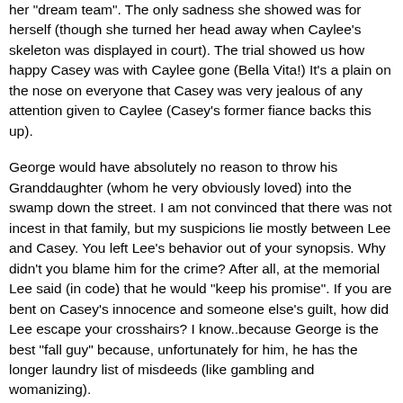her "dream team". The only sadness she showed was for herself (though she turned her head away when Caylee's skeleton was displayed in court). The trial showed us how happy Casey was with Caylee gone (Bella Vita!) It's a plain on the nose on everyone that Casey was very jealous of any attention given to Caylee (Casey's former fiance backs this up).
George would have absolutely no reason to throw his Granddaughter (whom he very obviously loved) into the swamp down the street. I am not convinced that there was not incest in that family, but my suspicions lie mostly between Lee and Casey. You left Lee's behavior out of your synopsis. Why didn't you blame him for the crime? After all, at the memorial Lee said (in code) that he would "keep his promise". If you are bent on Casey's innocence and someone else's guilt, how did Lee escape your crosshairs? I know..because George is the best "fall guy" because, unfortunately for him, he has the longer laundry list of misdeeds (like gambling and womanizing).
So, in conclusion, I am amused by your article, because you put forth your ideas in a well written article, but no sale. All the talk of George is silly, because law enforcement had access to George constantly from the start. They thoroughly investigated and found nothing to charge him with.